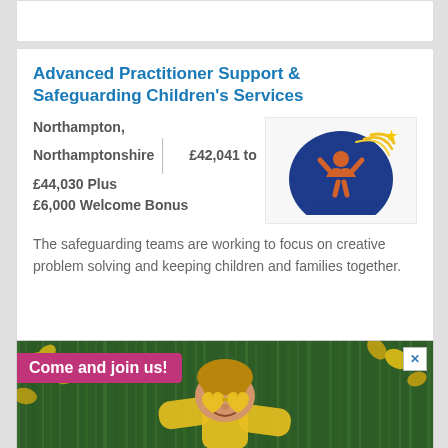Advanced Practitioner Support & Safeguarding Children's Services
Northampton, Northamptonshire | £42,041 to £44,030 Plus £6,000 Welcome Bonus
[Figure (logo): Northamptonshire Children's Trust logo — blue arc/dome with orange child figure, yellow star, text below]
The safeguarding teams are working to focus on creative problem solving and keeping children and families together.
[Figure (photo): Banner advertisement showing a child lying on grass wearing heart-shaped yellow sunglasses and yellow jacket, surrounded by yellow autumn leaves. Pink tag overlay reads 'Come and join us!']